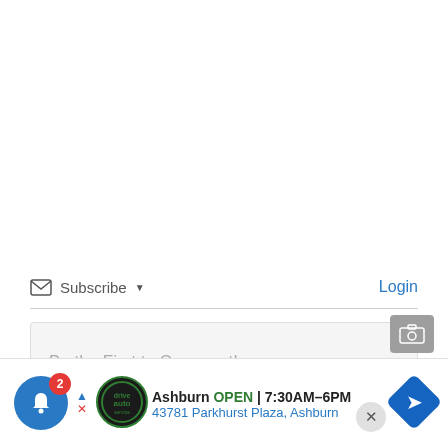Subscribe ▾   Login
Be the First to Comment!
[Figure (screenshot): Ad banner: Ashburn auto service shop - OPEN 7:30AM-6PM, 43781 Parkhurst Plaza, Ashburn. Includes shop logo, navigation arrow icon. Notification bell with badge '2' on left.]